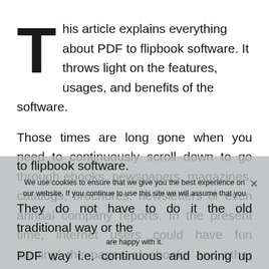This article explains everything about PDF to flipbook software. It throws light on the features, usages, and benefits of the software.
Those times are long gone when you need to continuously scroll down to go through ebooks, newspapers, magazines, catalogs, brochures, newsletters or even annual company reports. In the present time, internet users could have fun 'turning' the pages of ebooks and other digital publications with the help of PDF to flipbook software.
We use cookies to ensure that we give you the best experience on our website. If you continue to use this site we will assume that you are happy with it.
They do not have to do it the old traditional way or the PDF way i.e. continuous and boring up and down scrolling of the electronic publications to read.